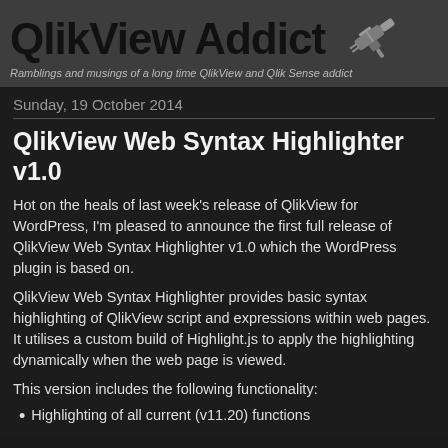QlikView Addict — Ramblings and musings of a long time QlikView and Qlik Sense addict
Sunday, 19 October 2014
QlikView Web Syntax Highlighter v1.0
Hot on the heals of last week's release of QlikView for WordPress, I'm pleased to announce the first full release of QlikView Web Syntax Highlighter v1.0 which the WordPress plugin is based on.
QlikView Web Syntax Highlighter provides basic syntax highlighting of QlikView script and expressions within web pages. It utilises a custom build of Highlight.js to apply the highlighting dynamically when the web page is viewed.
This version includes the following functionality:
Highlighting of all current (v11.20) functions